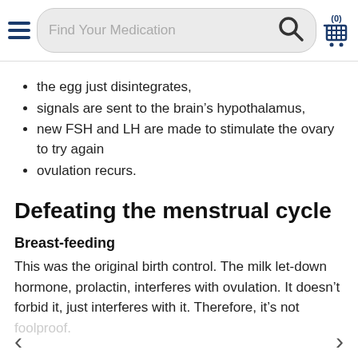Find Your Medication [search bar] (0) [cart]
the egg just disintegrates,
signals are sent to the brain's hypothalamus,
new FSH and LH are made to stimulate the ovary to try again
ovulation recurs.
Defeating the menstrual cycle
Breast-feeding
This was the original birth control. The milk let-down hormone, prolactin, interferes with ovulation. It doesn't forbid it, just interferes with it. Therefore, it's not foolproof.
< >